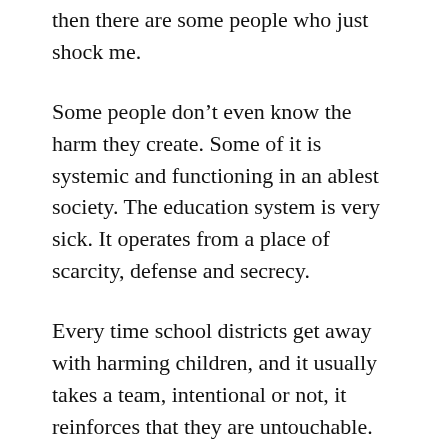then there are some people who just shock me.
Some people don’t even know the harm they create. Some of it is systemic and functioning in an ablest society. The education system is very sick. It operates from a place of scarcity, defense and secrecy.
Every time school districts get away with harming children, and it usually takes a team, intentional or not, it reinforces that they are untouchable.
So, how can we use common law “Loco Parentis” to aid in our advocacy?
It’s sad to say, but it may take a lawsuit around